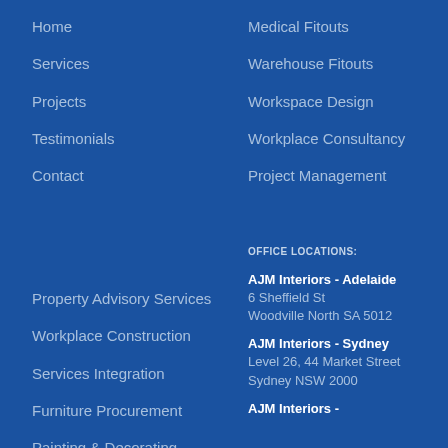Home
Services
Projects
Testimonials
Contact
Medical Fitouts
Warehouse Fitouts
Workspace Design
Workplace Consultancy
Project Management
Property Advisory Services
Workplace Construction
Services Integration
Furniture Procurement
Painting & Decorating
OFFICE LOCATIONS:
AJM Interiors - Adelaide
6 Sheffield St
Woodville North SA 5012
AJM Interiors - Sydney
Level 26, 44 Market Street
Sydney NSW 2000
AJM Interiors -